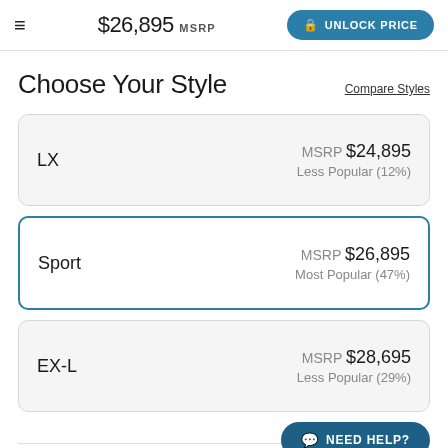$26,895 MSRP  UNLOCK PRICE
Choose Your Style
Compare Styles
LX  MSRP $24,895  Less Popular (12%)
Sport  MSRP $26,895  Most Popular (47%)
EX-L  MSRP $28,695  Less Popular (29%)
NEED HELP?
Choose Your Colors